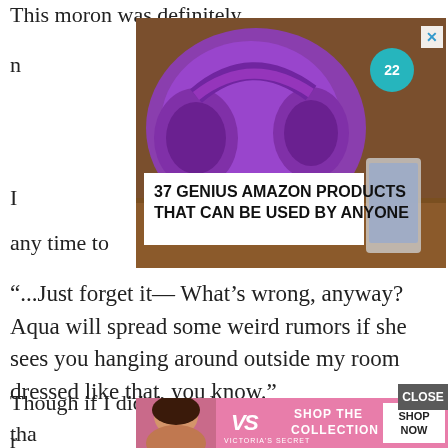This moron was definitely
n
[Figure (photo): Advertisement banner showing purple headphones with text '37 GENIUS AMAZON PRODUCTS THAT CAN BE USED BY ANYONE' and a badge with '22'. An X close button is in the top right corner.]
I
any time to
“...Just forget it— What’s wrong, anyway? Aqua will spread some weird rumors if she sees you hanging around outside my room dressed like that, you know.”
Darkness was wearing some flimsy one-piece sleepwear. I wasn’t sure where I should look.
Though if I didn’t need to recover tha
[Figure (photo): Victoria's Secret advertisement banner showing a woman with curly hair, the VS logo, text 'SHOP THE COLLECTION' and a 'SHOP NOW' button. A 'CLOSE' button overlaps the top right.]
r
w